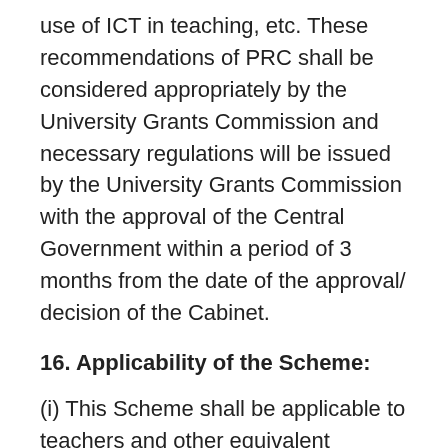use of ICT in teaching, etc. These recommendations of PRC shall be considered appropriately by the University Grants Commission and necessary regulations will be issued by the University Grants Commission with the approval of the Central Government within a period of 3 months from the date of the approval/ decision of the Cabinet.
16. Applicability of the Scheme:
(i) This Scheme shall be applicable to teachers and other equivalent academic staff in all the Central Universities and Colleges there-under and the Institutions Deemed to be Universities whose maintenance expenditure is met by the UGC. The